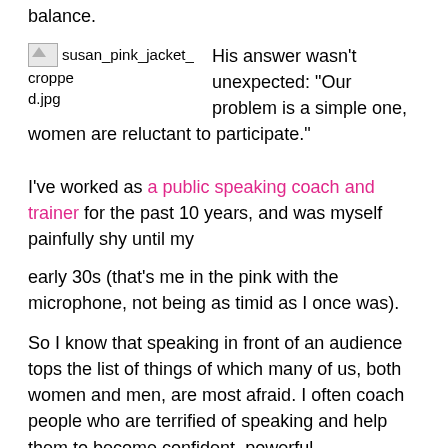balance.
[Figure (photo): Broken image placeholder labeled susan_pink_jacket_cropped.jpg]
His answer wasn't unexpected: “Our problem is a simple one, women are reluctant to participate.”

I’ve worked as a public speaking coach and trainer for the past 10 years, and was myself painfully shy until my early 30s (that’s me in the pink with the microphone, not being as timid as I once was).
So I know that speaking in front of an audience tops the list of things of which many of us, both women and men, are most afraid. I often coach people who are terrified of speaking and help them to become confident, powerful communicators.